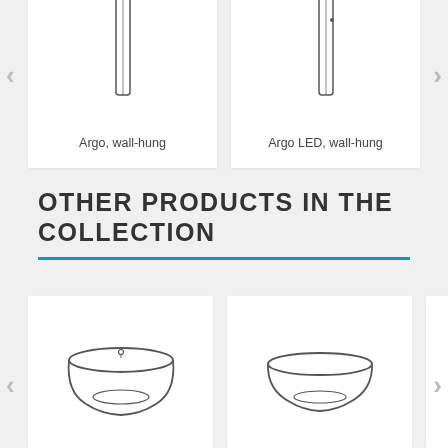[Figure (illustration): Line drawing of Argo wall-hung towel radiator - tall narrow vertical panel]
Argo, wall-hung
[Figure (illustration): Line drawing of Argo LED wall-hung towel radiator - tall narrow vertical panel]
Argo LED, wall-hung
OTHER PRODUCTS IN THE COLLECTION
[Figure (illustration): Line drawing of a round/oval basin bowl sink, undercounter style with visible drain]
[Figure (illustration): Line drawing of a round/oval basin bowl sink, countertop/vessel style]